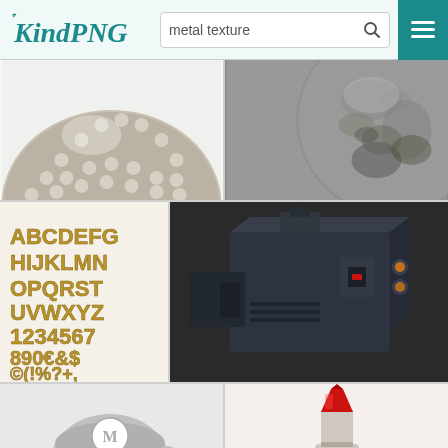KindPNG — metal texture search page
[Figure (screenshot): Website screenshot of KindPNG showing search results for 'metal texture'. Header with KindPNG logo, search bar with 'metal texture' text, and a grid of 6 thumbnail images including: a perforated metal sphere, a rough stone/metal sphere, a metallic alphabet font sheet, a dark industrial box/crate 3D model, a Mario figurine, and a red lipstick.]